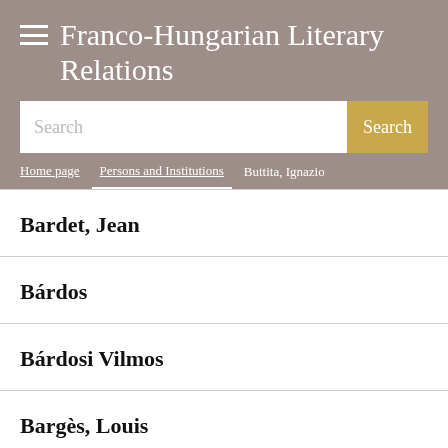Franco-Hungarian Literary Relations
Search
Home page > Persons and Institutions > Buttita, Ignazio
Bardet, Jean
Bárdos
Bárdosi Vilmos
Bargès, Louis